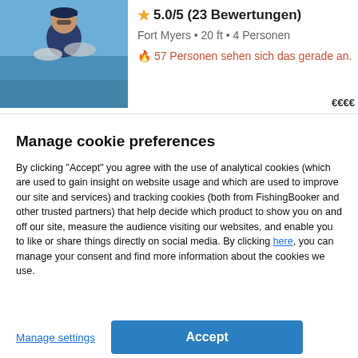[Figure (photo): Man holding a fish on a boat, outdoors near water]
★ 5.0/5 (23 Bewertungen)
Fort Myers • 20 ft • 4 Personen
🔥 57 Personen sehen sich das gerade an.
Manage cookie preferences
By clicking "Accept" you agree with the use of analytical cookies (which are used to gain insight on website usage and which are used to improve our site and services) and tracking cookies (both from FishingBooker and other trusted partners) that help decide which product to show you on and off our site, measure the audience visiting our websites, and enable you to like or share things directly on social media. By clicking here, you can manage your consent and find more information about the cookies we use.
Manage settings
Accept